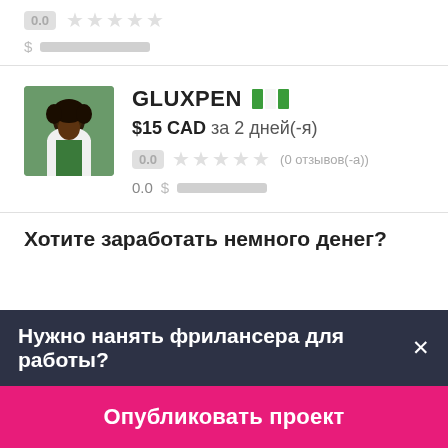0.0  $ ████████████
GLUXPEN  🇳🇬
$15 CAD за 2 дней(-я)
0.0  ★★★★★  (0 отзывов(-а))
0.0  $ ████████████
Хотите заработать немного денег?
Нужно нанять фрилансера для работы? ✕
Опубликовать проект